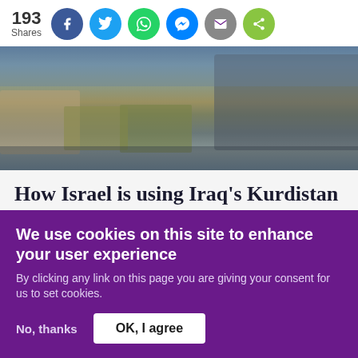193 Shares
[Figure (photo): Military equipment including boats, vehicles, and aircraft on a waterfront or military base]
How Israel is using Iraq's Kurdistan as a launchpad to attack Iran
Read More »
We use cookies on this site to enhance your user experience
By clicking any link on this page you are giving your consent for us to set cookies.
No, thanks  OK, I agree